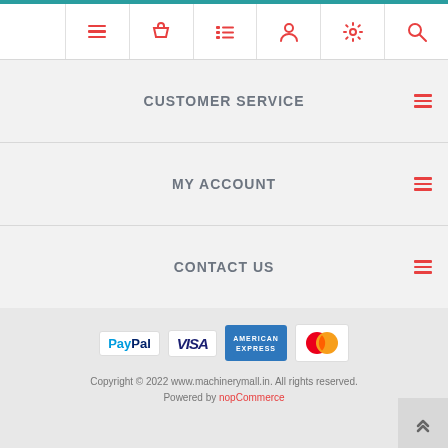[Figure (screenshot): Top navigation icon bar with hamburger menu, shopping basket, list, user, settings, and search icons in red on white background]
CUSTOMER SERVICE
MY ACCOUNT
CONTACT US
[Figure (infographic): Payment method logos: PayPal, VISA, American Express, MasterCard]
Copyright © 2022 www.machinerymall.in. All rights reserved. Powered by nopCommerce